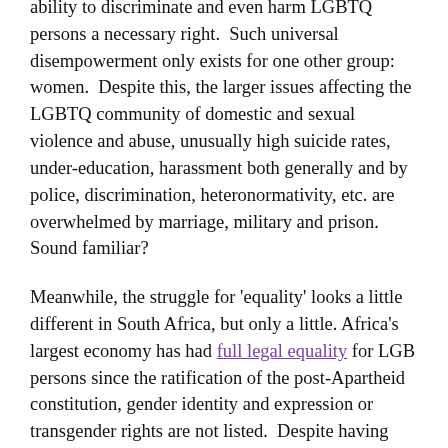ability to discriminate and even harm LGBTQ persons a necessary right.  Such universal disempowerment only exists for one other group: women.  Despite this, the larger issues affecting the LGBTQ community of domestic and sexual violence and abuse, unusually high suicide rates, under-education, harassment both generally and by police, discrimination, heteronormativity, etc. are overwhelmed by marriage, military and prison. Sound familiar?
Meanwhile, the struggle for 'equality' looks a little different in South Africa, but only a little. Africa's largest economy has had full legal equality for LGB persons since the ratification of the post-Apartheid constitution, gender identity and expression or transgender rights are not listed.  Despite having one of the most liberal constitutions in the world, South African LGBTQ persons are commonly subject to brutal acts of violence.  And they aren't the only ones.  In particular, African lesbians in South Africa have been explicitly targeted for gang-rapes.  I've talked about this particular situation before, that women and specifically queer women are targeted is no accident.  That these acts are not causing mass outcry or even being